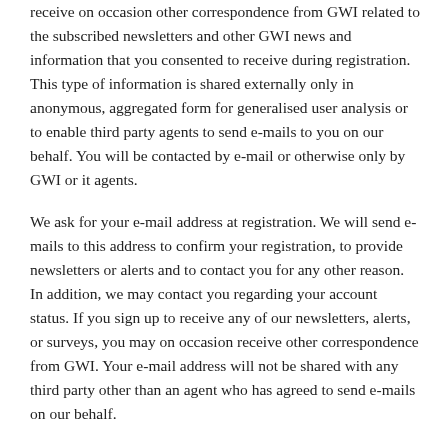receive on occasion other correspondence from GWI related to the subscribed newsletters and other GWI news and information that you consented to receive during registration. This type of information is shared externally only in anonymous, aggregated form for generalised user analysis or to enable third party agents to send e-mails to you on our behalf. You will be contacted by e-mail or otherwise only by GWI or it agents.
We ask for your e-mail address at registration. We will send e-mails to this address to confirm your registration, to provide newsletters or alerts and to contact you for any other reason. In addition, we may contact you regarding your account status. If you sign up to receive any of our newsletters, alerts, or surveys, you may on occasion receive other correspondence from GWI. Your e-mail address will not be shared with any third party other than an agent who has agreed to send e-mails on our behalf.
The Site also includes a feature that enables GWI to send links to its content through e-mail at our users' request. The e-mail address(es) that you supply in connection with this service will be used only to